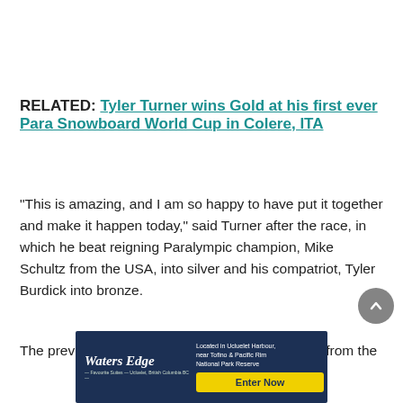RELATED: Tyler Turner wins Gold at his first ever Para Snowboard World Cup in Colere, ITA
“This is amazing, and I am so happy to have put it together and make it happen today,” said Turner after the race, in which he beat reigning Paralympic champion, Mike Schultz from the USA, into silver and his compatriot, Tyler Burdick into bronze.
The previous two-time world champion Chris Vos from the
[Figure (other): Advertisement banner for Waters Edge resort in Ucluelet Harbour near Tofino & Pacific Rim National Park Reserve, with an 'Enter Now' button]